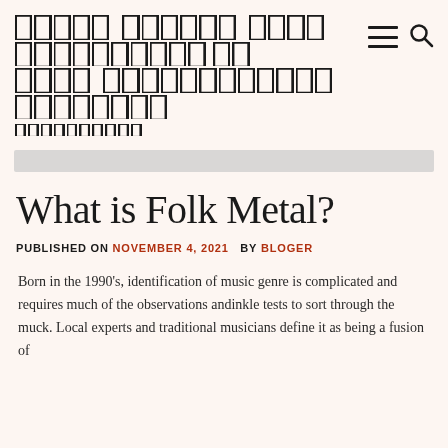█████ ██████ ██████████████ ██ ████ ████████████████████
PUBLISHED ON NOVEMBER 4, 2021 BY BLOGER
What is Folk Metal?
PUBLISHED ON NOVEMBER 4, 2021 BY BLOGER
Born in the 1990's, identification of music genre is complicated and requires much of the observations andinkle tests to sort through the muck. Local experts and traditional musicians define it as being a fusion of